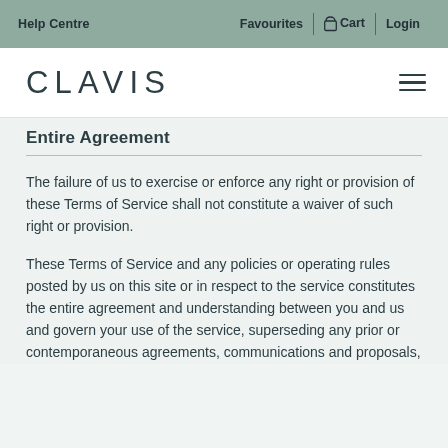Help Centre   Favourites   Cart   Login
CLAVIS
Entire Agreement
The failure of us to exercise or enforce any right or provision of these Terms of Service shall not constitute a waiver of such right or provision.
These Terms of Service and any policies or operating rules posted by us on this site or in respect to the service constitutes the entire agreement and understanding between you and us and govern your use of the service, superseding any prior or contemporaneous agreements, communications and proposals,